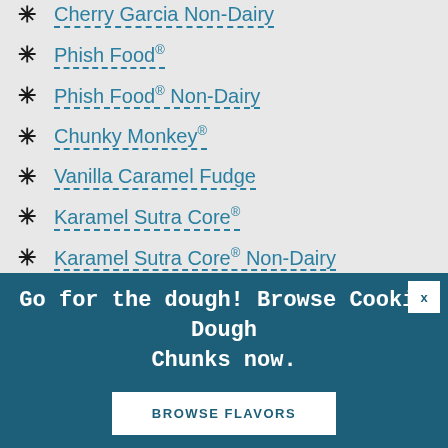Cherry Garcia Non-Dairy
Phish Food®
Phish Food® Non-Dairy
Chunky Monkey®
Vanilla Caramel Fudge
Karamel Sutra Core®
Karamel Sutra Core® Non-Dairy
New York Super Fudge Chunk®
Go for the dough! Browse Cookie Dough Chunks now.
BROWSE FLAVORS